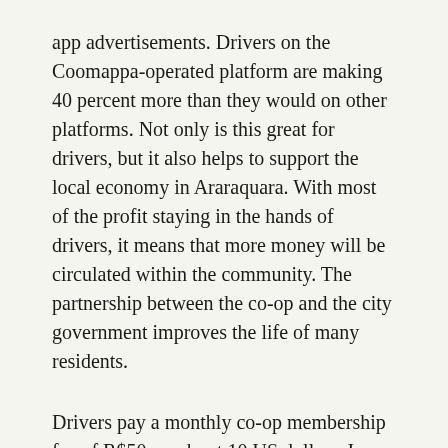app advertisements. Drivers on the Coomappa-operated platform are making 40 percent more than they would on other platforms. Not only is this great for drivers, but it also helps to support the local economy in Araraquara. With most of the profit staying in the hands of drivers, it means that more money will be circulated within the community. The partnership between the co-op and the city government improves the life of many residents.
Drivers pay a monthly co-op membership fee of R$50, or about 10 US dollars. In return, Coomappa not only provides the digital platform, but it also gives discounts based on its close relationships with local businesses, allowing them access to cheaper car washes, gas stations, and car repairs.